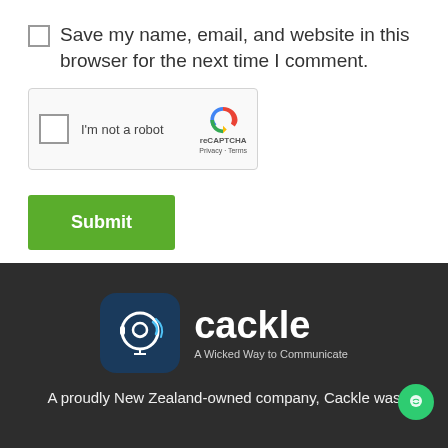Save my name, email, and website in this browser for the next time I comment.
[Figure (screenshot): reCAPTCHA widget with checkbox labeled 'I'm not a robot' and Google reCAPTCHA logo]
Submit
[Figure (logo): Cackle logo - dark blue icon with headphone/face graphic and text 'cackle' with tagline 'A Wicked Way to Communicate' on dark background]
A proudly New Zealand-owned company, Cackle was